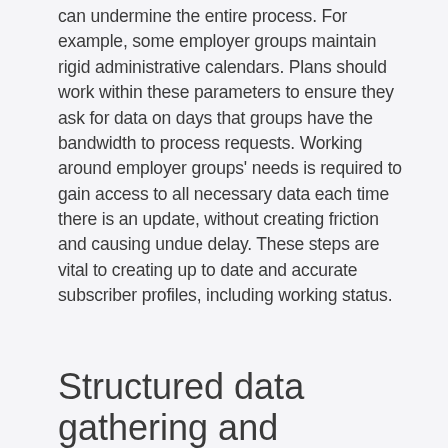communication with external partners can undermine the entire process. For example, some employer groups maintain rigid administrative calendars. Plans should work within these parameters to ensure they ask for data on days that groups have the bandwidth to process requests. Working around employer groups' needs is required to gain access to all necessary data each time there is an update, without creating friction and causing undue delay. These steps are vital to creating up to date and accurate subscriber profiles, including working status.
Structured data gathering and